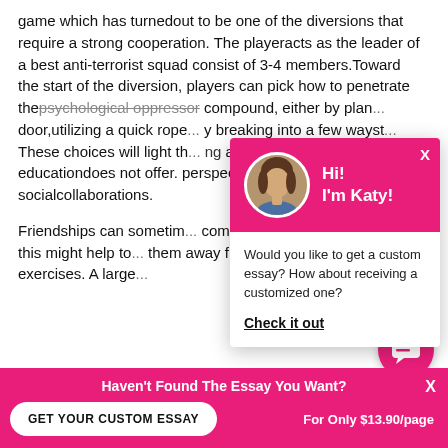game which has turnedout to be one of the diversions that require a strong cooperation. The playeracts as the leader of a best anti-terrorist squad consist of 3-4 members.Toward the start of the diversion, players can pick how to penetrate thepsychological oppressor compound, either by plan... door,utilizing a quick rope... breaking into a few wayst... These choices will light th... ng and procedure developme... educationdoes not offer. perspectives, computer ga... socialcollaborations.
[Figure (screenshot): Chat popup with avatar of woman named Katy, pink header, message asking about custom essay, and 'Check it out' link]
Friendships can sometim... computergames and eventually, this might help to them away from drug use andvicious exercises. A large...
[Figure (infographic): Pink bottom bar with 'Haven't Found The Essay You Want?' text, GET YOUR CUSTOM ESSAY button, and 'For Only $13.90/page' text]